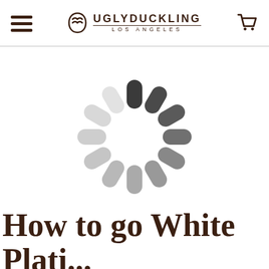Ugly Duckling Los Angeles — navigation header with hamburger menu and cart icon
[Figure (other): Loading spinner animation graphic — circular arrangement of rounded pill-shaped bars in varying shades of dark gray to light gray, indicating a page loading state]
How to go White Plati...